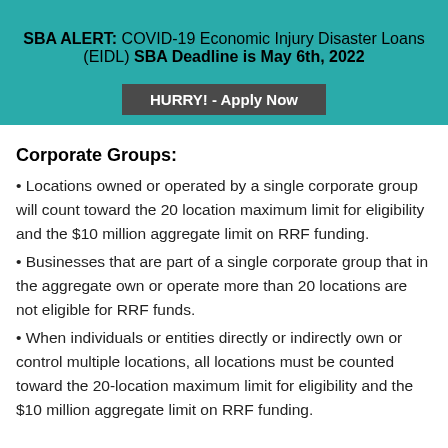SBA ALERT: COVID-19 Economic Injury Disaster Loans (EIDL) SBA Deadline is May 6th, 2022
HURRY! - Apply Now
Corporate Groups:
Locations owned or operated by a single corporate group will count toward the 20 location maximum limit for eligibility and the $10 million aggregate limit on RRF funding.
Businesses that are part of a single corporate group that in the aggregate own or operate more than 20 locations are not eligible for RRF funds.
When individuals or entities directly or indirectly own or control multiple locations, all locations must be counted toward the 20-location maximum limit for eligibility and the $10 million aggregate limit on RRF funding.